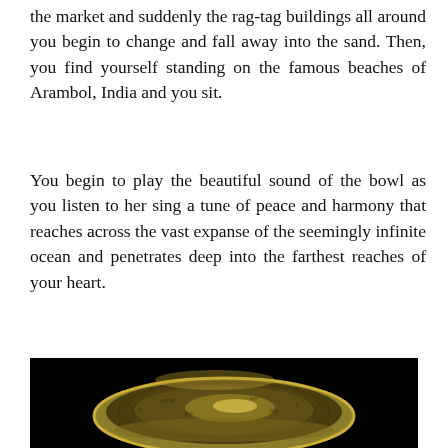the market and suddenly the rag-tag buildings all around you begin to change and fall away into the sand. Then, you find yourself standing on the famous beaches of Arambol, India and you sit.
You begin to play the beautiful sound of the bowl as you listen to her sing a tune of peace and harmony that reaches across the vast expanse of the seemingly infinite ocean and penetrates deep into the farthest reaches of your heart.
[Figure (photo): A Tibetan/Himalayan singing bowl photographed on a black background, showing intricate engraved Sanskrit script and decorative patterns on the golden-bronze interior and exterior of the bowl.]